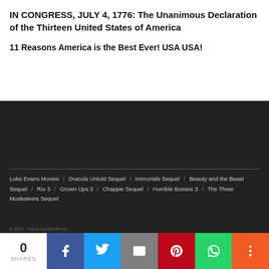IN CONGRESS, JULY 4, 1776: The Unanimous Declaration of the Thirteen United States of America
11 Reasons America is the Best Ever! USA USA!
Luke Evans Movies / Dracula Untold Sequel / Immortals Sequel / Beauty and the Beast Sequel / Rio 3 / Grown Ups 3 / Chappie Sequel / Horrible Bosses 3 / The Three Musketeers Sequel
0 SHARES — social share bar